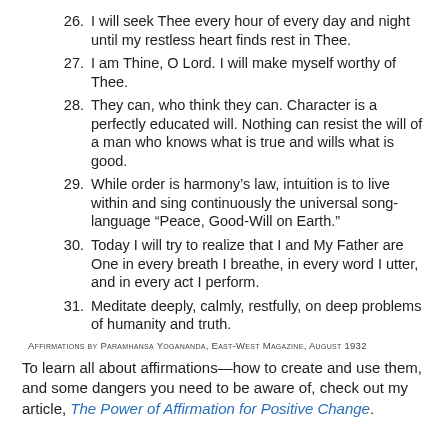26. I will seek Thee every hour of every day and night until my restless heart finds rest in Thee.
27. I am Thine, O Lord. I will make myself worthy of Thee.
28. They can, who think they can. Character is a perfectly educated will. Nothing can resist the will of a man who knows what is true and wills what is good.
29. While order is harmony’s law, intuition is to live within and sing continuously the universal song-language “Peace, Good-Will on Earth.”
30. Today I will try to realize that I and My Father are One in every breath I breathe, in every word I utter, and in every act I perform.
31. Meditate deeply, calmly, restfully, on deep problems of humanity and truth.
Affirmations by Paramhansa Yogananda, East-West Magazine, August 1932
To learn all about affirmations—how to create and use them, and some dangers you need to be aware of, check out my article, The Power of Affirmation for Positive Change.